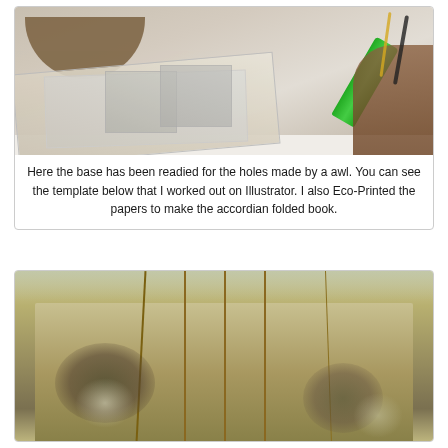[Figure (photo): Overhead view of a craft workspace showing paper materials, a brown semi-circle shape, eco-printed papers with plant designs, a green marker/glue stick, cutting tools, and a brown organic-shaped cutout on a white table surface.]
Here the base has been readied for the holes made by a awl. You can see the template below that I worked out on Illustrator. I also Eco-Printed the papers to make the accordian folded book.
[Figure (photo): Close-up photo of eco-printed papers with dark organic stains and plant impressions, with vertical bamboo or reed sticks passing through or alongside the folded accordion book pages. Background shows window light.]